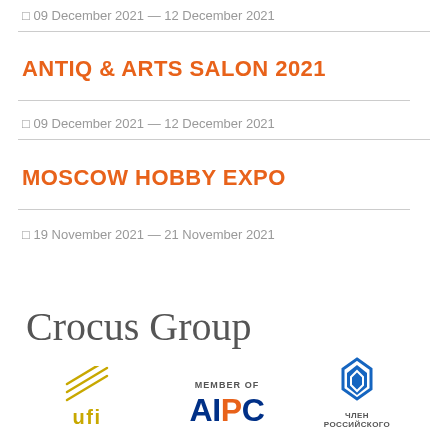□ 09 December 2021 — 12 December 2021
ANTIQ & ARTS SALON 2021
□ 09 December 2021 — 12 December 2021
MOSCOW HOBBY EXPO
□ 19 November 2021 — 21 November 2021
[Figure (logo): Crocus Group logo with partner organization logos: UFI, AIPC (Member of), and a Russian organization logo]